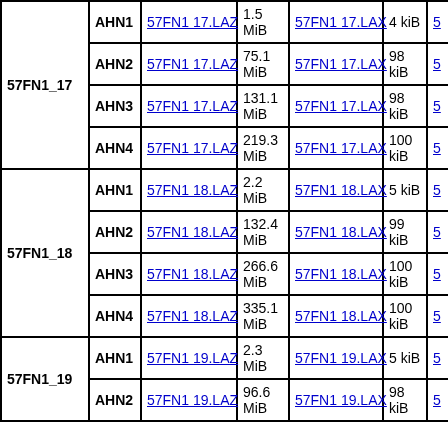| Group | AHN | LAZ File | LAZ Size | LAX File | LAX Size |  |
| --- | --- | --- | --- | --- | --- | --- |
| 57FN1_17 | AHN1 | 57FN1 17.LAZ | 1.5 MiB | 57FN1 17.LAX | 4 kiB | 5… |
|  | AHN2 | 57FN1 17.LAZ | 75.1 MiB | 57FN1 17.LAX | 98 kiB | 5… |
|  | AHN3 | 57FN1 17.LAZ | 131.1 MiB | 57FN1 17.LAX | 98 kiB | 5… |
|  | AHN4 | 57FN1 17.LAZ | 219.3 MiB | 57FN1 17.LAX | 100 kiB | 5… |
| 57FN1_18 | AHN1 | 57FN1 18.LAZ | 2.2 MiB | 57FN1 18.LAX | 5 kiB | 5… |
|  | AHN2 | 57FN1 18.LAZ | 132.4 MiB | 57FN1 18.LAX | 99 kiB | 5… |
|  | AHN3 | 57FN1 18.LAZ | 266.6 MiB | 57FN1 18.LAX | 100 kiB | 5… |
|  | AHN4 | 57FN1 18.LAZ | 335.1 MiB | 57FN1 18.LAX | 100 kiB | 5… |
| 57FN1_19 | AHN1 | 57FN1 19.LAZ | 2.3 MiB | 57FN1 19.LAX | 5 kiB | 5… |
|  | AHN2 | 57FN1 19.LAZ | 96.6 MiB | 57FN1 19.LAX | 98 kiB | 5… |